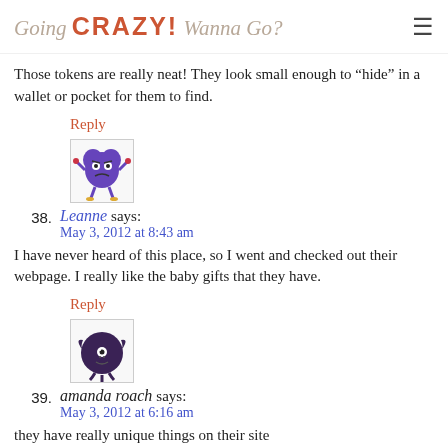Going CRAZY! Wanna Go?
Those tokens are really neat! They look small enough to "hide" in a wallet or pocket for them to find.
Reply
[Figure (illustration): Purple cartoon monster avatar with arms and legs]
38. Leanne says: May 3, 2012 at 8:43 am
I have never heard of this place, so I went and checked out their webpage. I really like the baby gifts that they have.
Reply
[Figure (illustration): Round dark purple cartoon monster avatar with wings]
39. amanda roach says: May 3, 2012 at 6:16 am
they have really unique things on their site